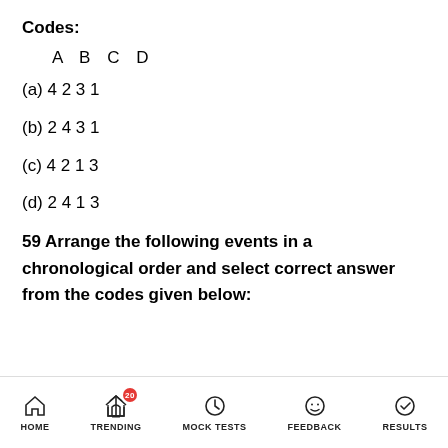Codes:
A B C D
(a) 4 2 3 1
(b) 2 4 3 1
(c) 4 2 1 3
(d) 2 4 1 3
59 Arrange the following events in a chronological order and select correct answer from the codes given below:
HOME  TRENDING  MOCK TESTS  FEEDBACK  RESULTS